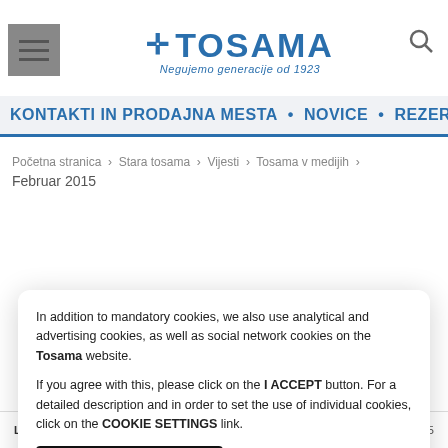[Figure (logo): Tosama logo with cross symbol and tagline 'Negujemo generacije od 1923']
KONTAKTI IN PRODAJNA MESTA • NOVICE • REZERVA
Početna stranica › Stara tosama › Vijesti › Tosama v medijih ›
Februar 2015
In addition to mandatory cookies, we also use analytical and advertising cookies, as well as social network cookies on the Tosama website.

If you agree with this, please click on the I ACCEPT button. For a detailed description and in order to set the use of individual cookies, click on the COOKIE SETTINGS link.
POTVRĐUJEM
Postavke kolačića
L&Z   27.02 2015